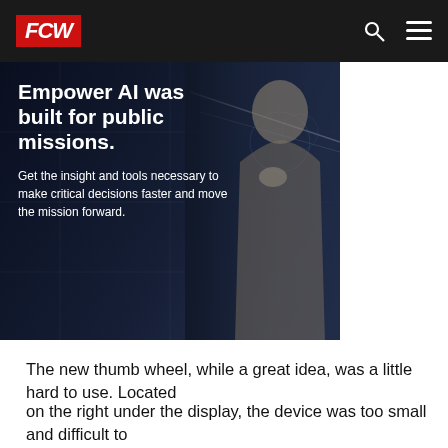FCW
[Figure (photo): Advertisement banner for Empower AI showing a woman and dark tech background with text: 'Empower AI was built for public missions. Get the insight and tools necessary to make critical decisions faster and move the mission forward.']
The new thumb wheel, while a great idea, was a little hard to use. Located
on the right under the display, the device was too small and difficult to
manage when wielding the stylus in your right hand. We often found ourselves
setting the stylus down to use the scroll feature. Eventually, we found